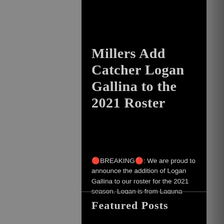[Figure (photo): Photo strip at top showing baseball players in uniform, partially cropped]
Millers Add Catcher Logan Gallina to the 2021 Roster
🔴BREAKING🔴: We are proud to announce the addition of Logan Gallina to our roster for the 2021 season. Logan is from Laguna Niguel,...
Featured Posts